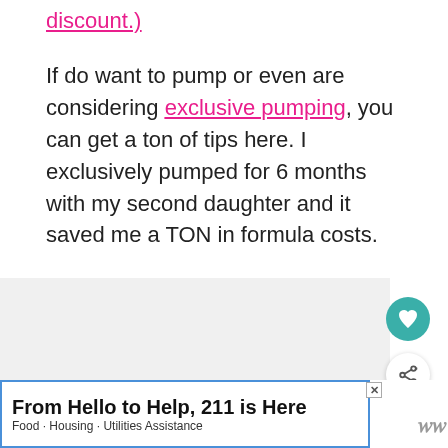discount.)
If do want to pump or even are considering exclusive pumping, you can get a ton of tips here. I exclusively pumped for 6 months with my second daughter and it saved me a TON in formula costs.
[Figure (other): Gray content area with heart (favorite) button in teal and share button in white, plus a 'What's Next' thumbnail preview showing 'Free Baby Stuff for Ne...']
From Hello to Help, 211 is Here
Food · Housing · Utilities Assistance